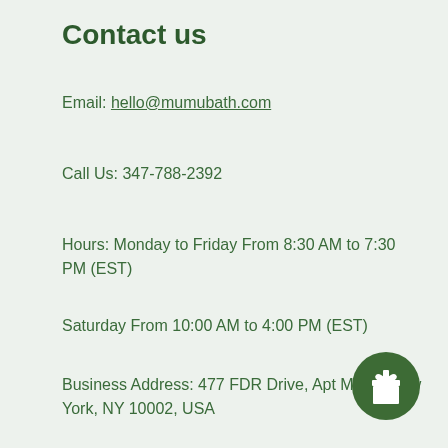Contact us
Email: hello@mumubath.com
Call Us: 347-788-2392
Hours: Monday to Friday From 8:30 AM to 7:30 PM (EST)
Saturday From 10:00 AM to 4:00 PM (EST)
Business Address: 477 FDR Drive, Apt M902, New York, NY 10002, USA
Shop
Soaps
[Figure (illustration): Green circular gift icon button in bottom-right corner]